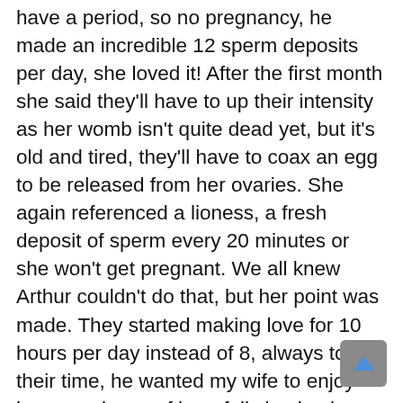have a period, so no pregnancy, he made an incredible 12 sperm deposits per day, she loved it! After the first month she said they'll have to up their intensity as her womb isn't quite dead yet, but it's old and tired, they'll have to coax an egg to be released from her ovaries. She again referenced a lioness, a fresh deposit of sperm every 20 minutes or she won't get pregnant. We all knew Arthur couldn't do that, but her point was made. They started making love for 10 hours per day instead of 8, always took their time, he wanted my wife to enjoy her experience of hopefully having her 3rd black baby, which would be her 8th baby in total. Arthur would leave and visit his family now and then, both needed a break. After all, my wife said with his extra length and girth there were times it felt like he was ripping her apart.Six months in he made 2,100 deposits of sperm, wife was thrilled, but no baby yet. She just turned 53, is it too late?